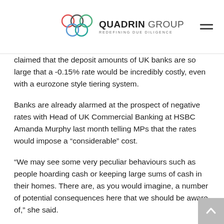Quadrin Group — Redefining Due Diligence
claimed that the deposit amounts of UK banks are so large that a -0.15% rate would be incredibly costly, even with a eurozone style tiering system.
Banks are already alarmed at the prospect of negative rates with Head of UK Commercial Banking at HSBC Amanda Murphy last month telling MPs that the rates would impose a "considerable" cost.
“We may see some very peculiar behaviours such as people hoarding cash or keeping large sums of cash in their homes. There are, as you would imagine, a number of potential consequences here that we should be aware of,” she said.
Some bank officials however believe that a cost analysis based purely on net interest misses the bigger